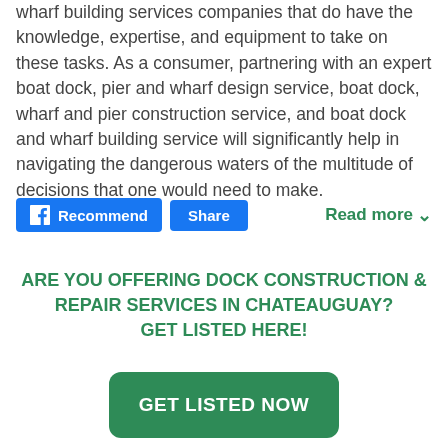wharf building services companies that do have the knowledge, expertise, and equipment to take on these tasks. As a consumer, partnering with an expert boat dock, pier and wharf design service, boat dock, wharf and pier construction service, and boat dock and wharf building service will significantly help in navigating the dangerous waters of the multitude of decisions that one would need to make.
Recommend | Share | Read more
ARE YOU OFFERING DOCK CONSTRUCTION & REPAIR SERVICES IN CHATEAUGUAY? GET LISTED HERE!
GET LISTED NOW